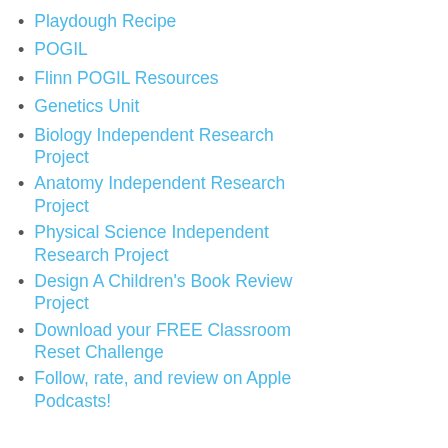Playdough Recipe
POGIL
Flinn POGIL Resources
Genetics Unit
Biology Independent Research Project
Anatomy Independent Research Project
Physical Science Independent Research Project
Design A Children's Book Review Project
Download your FREE Classroom Reset Challenge
Follow, rate, and review on Apple Podcasts!